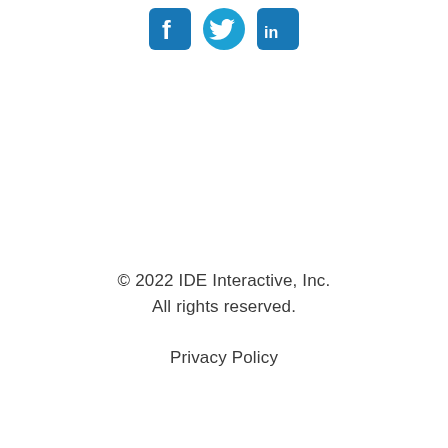[Figure (logo): Three social media icons: Facebook (blue square with 'f'), Twitter (blue bird), LinkedIn (blue square with 'in')]
© 2022 IDE Interactive, Inc.
All rights reserved.
Privacy Policy